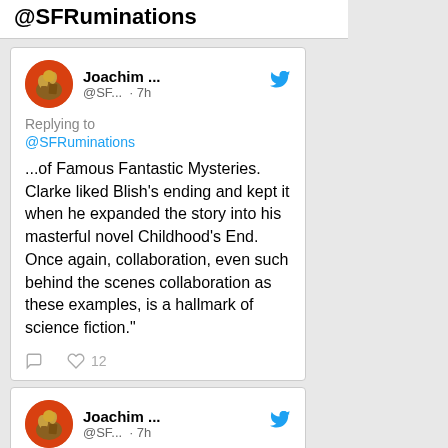@SFRuminations
Joachim ... @SF... · 7h
Replying to @SFRuminations
...of Famous Fantastic Mysteries. Clarke liked Blish's ending and kept it when he expanded the story into his masterful novel Childhood's End. Once again, collaboration, even such behind the scenes collaboration as these examples, is a hallmark of science fiction."
12 likes
Joachim ... @SF... · 7h